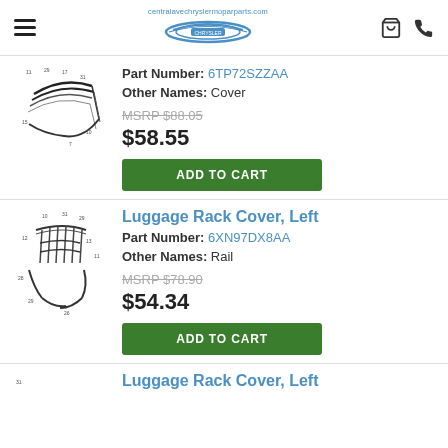centralavechryslermoparparts.com
Part Number: 6TP72SZZAA
Other Names: Cover
MSRP $88.05
$58.55
ADD TO CART
Luggage Rack Cover, Left
Part Number: 6XN97DX8AA
Other Names: Rail
MSRP $78.90
$54.34
ADD TO CART
Luggage Rack Cover, Left